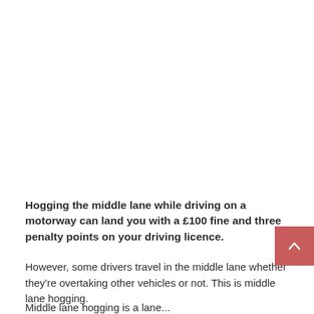Hogging the middle lane while driving on a motorway can land you with a £100 fine and three penalty points on your driving licence.
However, some drivers travel in the middle lane whether they're overtaking other vehicles or not. This is middle lane hogging.
Middle lane hogging is...